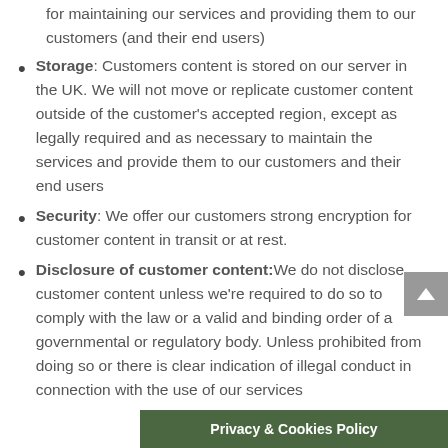for maintaining our services and providing them to our customers (and their end users)
Storage: Customers content is stored on our server in the UK. We will not move or replicate customer content outside of the customer's accepted region, except as legally required and as necessary to maintain the services and provide them to our customers and their end users
Security: We offer our customers strong encryption for customer content in transit or at rest.
Disclosure of customer content: We do not disclose customer content unless we're required to do so to comply with the law or a valid and binding order of a governmental or regulatory body. Unless prohibited from doing so or there is clear indication of illegal conduct in connection with the use of our services
Privacy & Cookies Policy